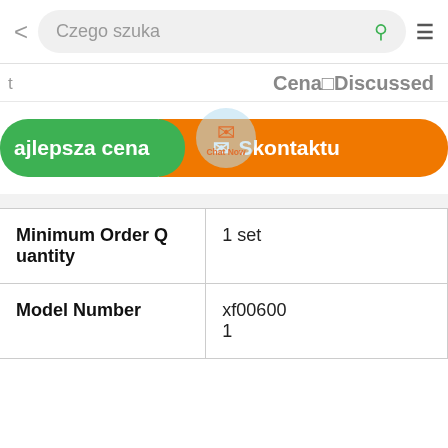[Figure (screenshot): Mobile app navigation bar with back arrow, search field 'Czego szuka', search icon, and hamburger menu]
t                         Cena□Discussed
[Figure (screenshot): Green button 'ajlepsza cena' and orange button 'Skontaktu' with chat now overlay circle]
| Property | Value |
| --- | --- |
| Minimum Order Quantity | 1 set |
| Model Number | xf006001 |